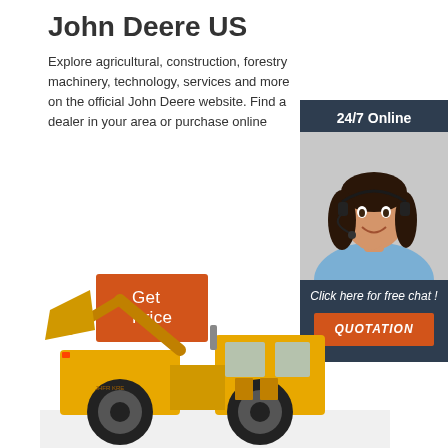John Deere US
Explore agricultural, construction, forestry machinery, technology, services and more on the official John Deere website. Find a dealer in your area or purchase online
Get Price
[Figure (illustration): Chat widget with '24/7 Online' header, photo of a smiling woman with a headset, 'Click here for free chat!' text, and an orange QUOTATION button]
[Figure (photo): Yellow large construction wheel loader / articulated dump truck on white background]